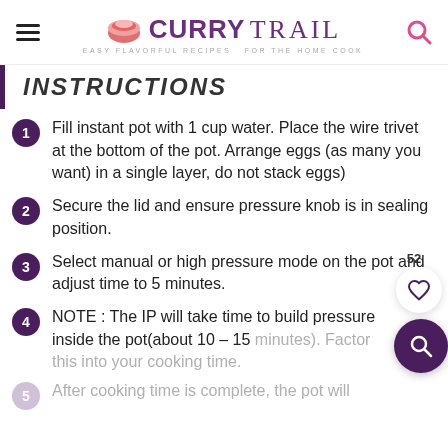Curry Trail — Easy Flavorful Recipes For The Home Cook
INSTRUCTIONS
Fill instant pot with 1 cup water. Place the wire trivet at the bottom of the pot. Arrange eggs (as many you want) in a single layer, do not stack eggs)
Secure the lid and ensure pressure knob is in sealing position.
Select manual or high pressure mode on the pot and adjust time to 5 minutes.
NOTE : The IP will take time to build pressure inside the pot(about 10 – 15 minutes). Factor this into your cooking time.
After cooking time is complete, the pot will